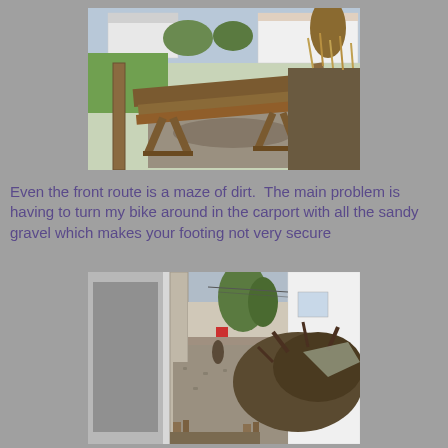[Figure (photo): Outdoor photo showing wooden lumber/planks on sawhorses or supports in a gravel/dirt area between two houses, with green grass visible in the background and a residential house visible in the distance.]
Even the front route is a maze of dirt.  The main problem is having to turn my bike around in the carport with all the sandy gravel which makes your footing not very secure
[Figure (photo): Outdoor photo showing a narrow passageway or carport area between two buildings, with a large pile of dirt or debris on the right side and a pathway/alley visible in the background.]